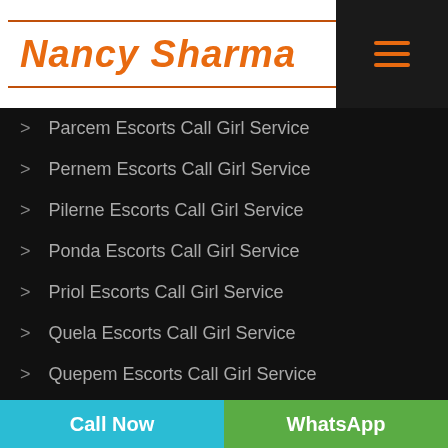Nancy Sharma
Parcem Escorts Call Girl Service
Pernem Escorts Call Girl Service
Pilerne Escorts Call Girl Service
Ponda Escorts Call Girl Service
Priol Escorts Call Girl Service
Quela Escorts Call Girl Service
Quepem Escorts Call Girl Service
Raia Escorts Call Girl Service
Call Now | WhatsApp